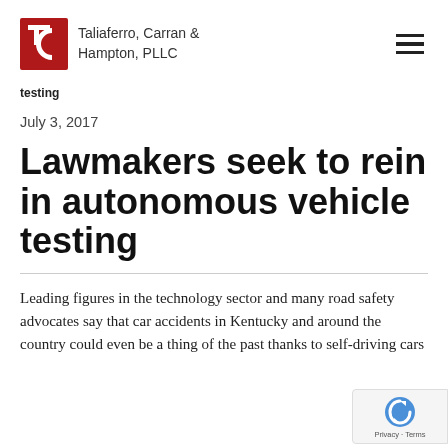Taliaferro, Carran & Hampton, PLLC
testing
July 3, 2017
Lawmakers seek to rein in autonomous vehicle testing
Leading figures in the technology sector and many road safety advocates say that car accidents in Kentucky and around the country could even be a thing of the past thanks to self-driving cars